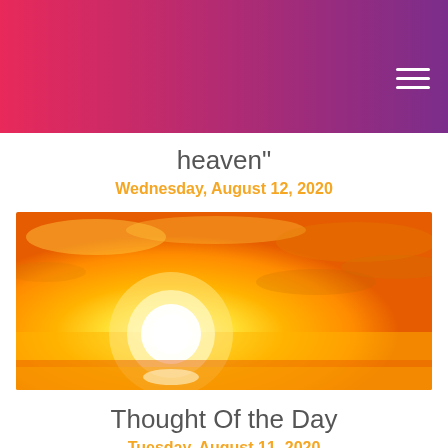heaven"
Wednesday, August 12, 2020
[Figure (photo): Bright yellow and orange sunset with large glowing sun near horizon, dramatic sky with clouds]
Thought Of the Day
Tuesday, August 11, 2020
[Figure (photo): Golden sunset sky, partially visible at bottom of page]